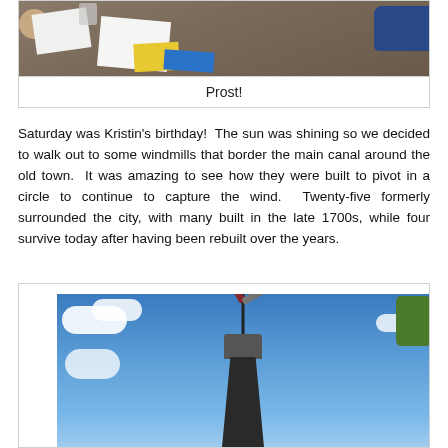[Figure (photo): Photo of a wooden table with papers, yellow and blue cards/games, a cup, and people's hands visible. A game or activity scene.]
Prost!
Saturday was Kristin's birthday!  The sun was shining so we decided to walk out to some windmills that border the main canal around the old town.  It was amazing to see how they were built to pivot in a circle to continue to capture the wind.  Twenty-five formerly surrounded the city, with many built in the late 1700s, while four survive today after having been rebuilt over the years.
[Figure (photo): Looking up at a traditional windmill against a blue sky with white clouds. The windmill has a dark body and red-accented blades. Green foliage is visible at the top right.]